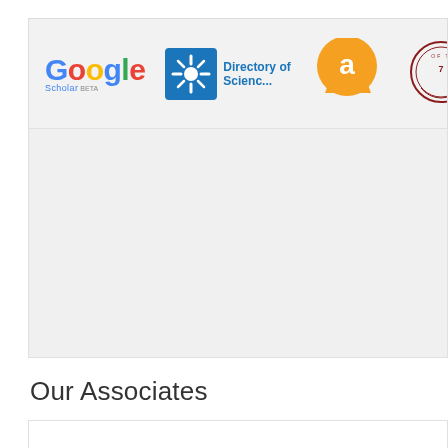[Figure (logo): Row of logos: Google Scholar, Directory of Science (blue atom icon), orange circle logo, partial university seal/stamp]
[Figure (other): Large grey rectangular area, likely a carousel or banner placeholder]
Our Associates
[Figure (other): White content box, likely associates logos area, mostly blank/loading]